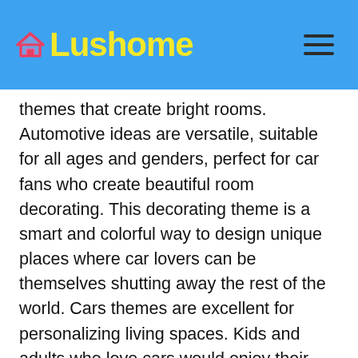Lushome
themes that create bright rooms. Automotive ideas are versatile, suitable for all ages and genders, perfect for car fans who create beautiful room decorating. This decorating theme is a smart and colorful way to design unique places where car lovers can be themselves shutting away the rest of the world. Cars themes are excellent for personalizing living spaces. Kids and adults who love cars would enjoy their getaway places which surround them with images of vehicles, models and automotive parts.
Car themes are a smart way to accentuate room decorating. Car images are an extension of a driver personality. Paintings, pictures, digital wallpapers, cool wall stickers, and real car parts made fabulous